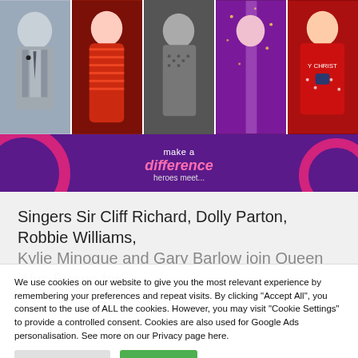[Figure (photo): A collage of five celebrity photos in a horizontal strip, followed by a purple promotional banner reading 'make a difference / heroes meet...']
Singers Sir Cliff Richard, Dolly Parton, Robbie Williams, Kylie Minogue and Gary Barlow join Queen Wys Evans for
We use cookies on our website to give you the most relevant experience by remembering your preferences and repeat visits. By clicking "Accept All", you consent to the use of ALL the cookies. However, you may visit "Cookie Settings" to provide a controlled consent. Cookies are also used for Google Ads personalisation. See more on our Privacy page here.